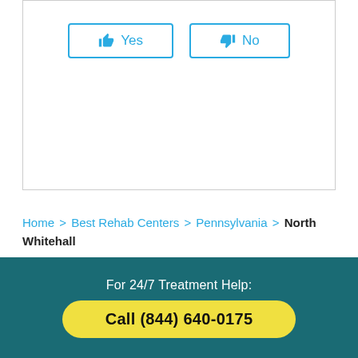[Figure (other): Yes and No feedback buttons inside a bordered card. Yes button has thumbs-up icon, No button has thumbs-down icon, both in teal/blue color.]
Home > Best Rehab Centers > Pennsylvania > North Whitehall
Questions About Treatment?
For 24/7 Treatment Help:
Call (844) 640-0175